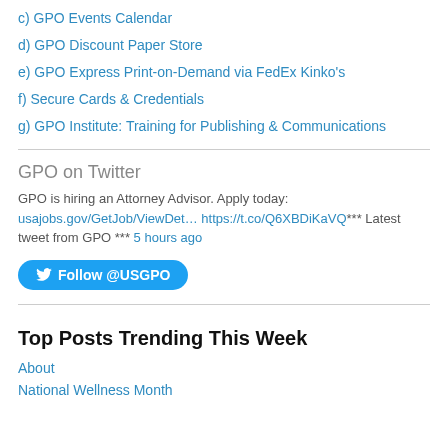c) GPO Events Calendar
d) GPO Discount Paper Store
e) GPO Express Print-on-Demand via FedEx Kinko's
f) Secure Cards & Credentials
g) GPO Institute: Training for Publishing & Communications
GPO on Twitter
GPO is hiring an Attorney Advisor. Apply today: usajobs.gov/GetJob/ViewDet… https://t.co/Q6XBDiKaVQ*** Latest tweet from GPO *** 5 hours ago
Follow @USGPO
Top Posts Trending This Week
About
National Wellness Month